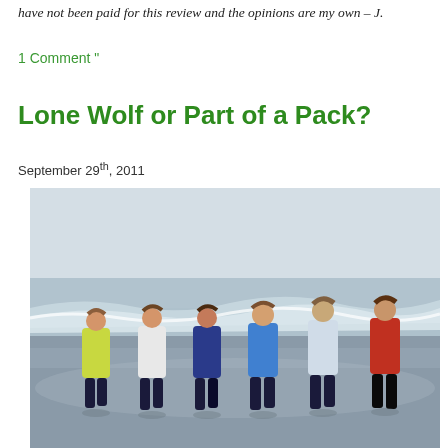have not been paid for this review and the opinions are my own – J.
1 Comment "
Lone Wolf or Part of a Pack?
September 29th, 2011
[Figure (photo): Six women running together on a beach, viewed from behind. They are wearing colorful athletic tops and dark shorts. The beach is wet and the ocean with waves is visible in the background under a hazy sky.]